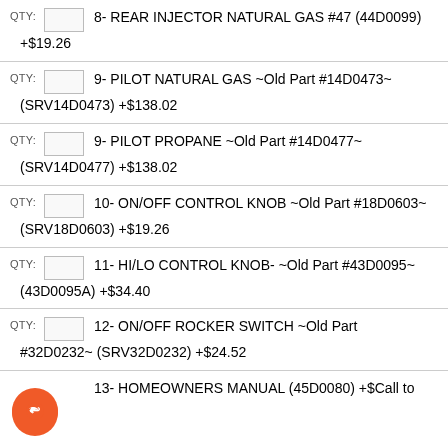QTY: [box] 8- REAR INJECTOR NATURAL GAS #47 (44D0099) +$19.26
QTY: [box] 9- PILOT NATURAL GAS ~Old Part #14D0473~ (SRV14D0473) +$138.02
QTY: [box] 9- PILOT PROPANE ~Old Part #14D0477~ (SRV14D0477) +$138.02
QTY: [box] 10- ON/OFF CONTROL KNOB ~Old Part #18D0603~ (SRV18D0603) +$19.26
QTY: [box] 11- HI/LO CONTROL KNOB- ~Old Part #43D0095~ (43D0095A) +$34.40
QTY: [box] 12- ON/OFF ROCKER SWITCH ~Old Part #32D0232~ (SRV32D0232) +$24.52
QTY: [box] 13- HOMEOWNERS MANUAL (45D0080) +$Call to